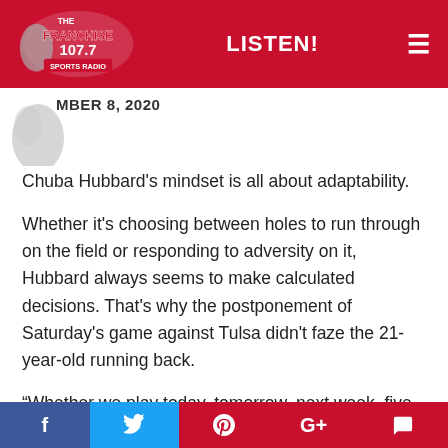The Franchise 107.7 Sports Radio — LISTEN! ≡
MBER 8, 2020
Chuba Hubbard's mindset is all about adaptability.
Whether it's choosing between holes to run through on the field or responding to adversity on it, Hubbard always seems to make calculated decisions. That's why the postponement of Saturday's game against Tulsa didn't faze the 21-year-old running back.
“Whether we play today, tomorrow, next week, five months from now, I’m going to be ready,” Hubbard said in Tuesday’s press conference. “We got to practice a little extra, that’s just better for us to get ready. I’m not
f  🐦  ®  G+  💬